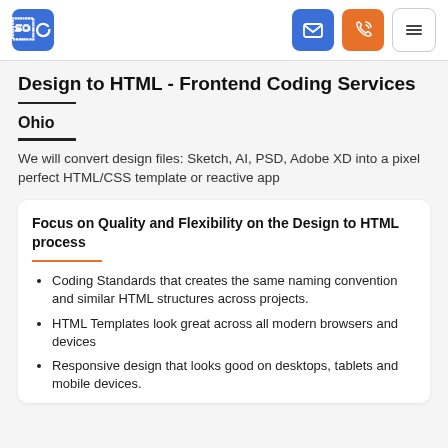Navigation bar with logo, email, phone, and menu buttons
Design to HTML - Frontend Coding Services
Ohio
We will convert design files: Sketch, AI, PSD, Adobe XD into a pixel perfect HTML/CSS template or reactive app
Focus on Quality and Flexibility on the Design to HTML process
Coding Standards that creates the same naming convention and similar HTML structures across projects.
HTML Templates look great across all modern browsers and devices
Responsive design that looks good on desktops, tablets and mobile devices.